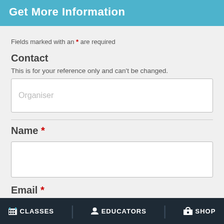Get More Information
Fields marked with an * are required
Contact
This is for your reference only and can't be changed.
Organiser
Name *
Email *
CLASSES  |  EDUCATORS  |  SHOP